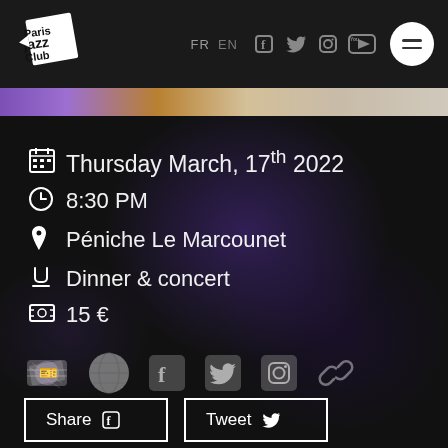[Figure (logo): Paris Jazz Club logo — diagonal square with text]
FR EN — social media icons (Facebook, Twitter, Instagram, YouTube) — hamburger menu
[Figure (photo): Color photo strip — blurred background with purple and orange tones]
Thursday March, 17th 2022
8:30 PM
Péniche Le Marcounet
Dinner & concert
15 €
[Figure (infographic): Row of action icons: ticket, globe, Facebook, Twitter, Instagram, link]
Share   Tweet